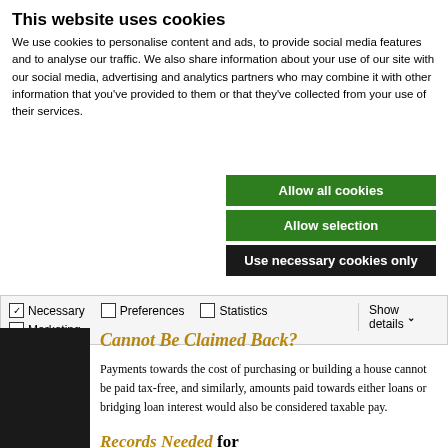This website uses cookies
We use cookies to personalise content and ads, to provide social media features and to analyse our traffic. We also share information about your use of our site with our social media, advertising and analytics partners who may combine it with other information that you've provided to them or that they've collected from your use of their services.
Allow all cookies
Allow selection
Use necessary cookies only
Necessary  Preferences  Statistics  Marketing  Show details
Cannot Be Claimed Back?
Payments towards the cost of purchasing or building a house cannot be paid tax-free, and similarly, amounts paid towards either loans or bridging loan interest would also be considered taxable pay.
Records Needed for Employee Relocation Tax